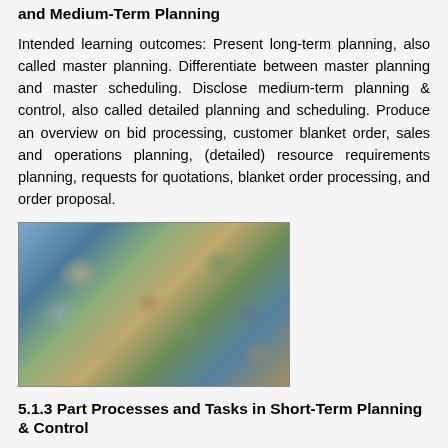and Medium-Term Planning
Intended learning outcomes: Present long-term planning, also called master planning. Differentiate between master planning and master scheduling. Disclose medium-term planning & control, also called detailed planning and scheduling. Produce an overview on bid processing, customer blanket order, sales and operations planning, (detailed) resource requirements planning, requests for quotations, blanket order processing, and order proposal.
[Figure (photo): A photograph showing rocky or pebbly texture, with bluish-gray and brownish tones, possibly stones or pebbles in water or on ground.]
5.1.3 Part Processes and Tasks in Short-Term Planning & Control
Intended learning outcomes: Present in detail...